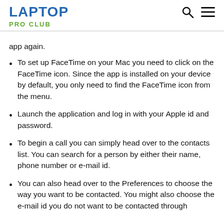LAPTOP PRO CLUB
app again.
To set up FaceTime on your Mac you need to click on the FaceTime icon. Since the app is installed on your device by default, you only need to find the FaceTime icon from the menu.
Launch the application and log in with your Apple id and password.
To begin a call you can simply head over to the contacts list. You can search for a person by either their name, phone number or e-mail id.
You can also head over to the Preferences to choose the way you want to be contacted. You might also choose the e-mail id you do not want to be contacted through